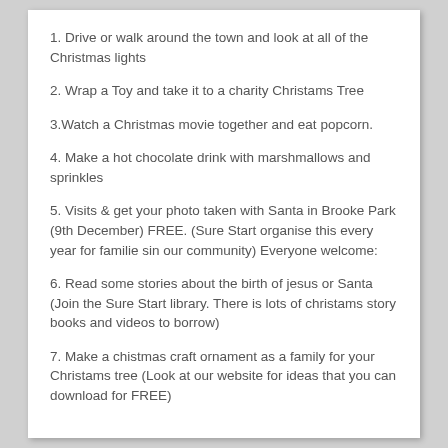1. Drive or walk around the town and look at all of the Christmas lights
2. Wrap a Toy and take it to a charity Christams Tree
3.Watch a Christmas movie together and eat popcorn.
4. Make a hot chocolate drink with marshmallows and sprinkles
5. Visits & get your photo taken with Santa in Brooke Park (9th December) FREE. (Sure Start organise this every year for familie sin our community) Everyone welcome:
6. Read some stories about the birth of jesus or Santa (Join the Sure Start library. There is lots of christams story books and videos to borrow)
7. Make a chistmas craft ornament as a family for your Christams tree (Look at our website for ideas that you can download for FREE)